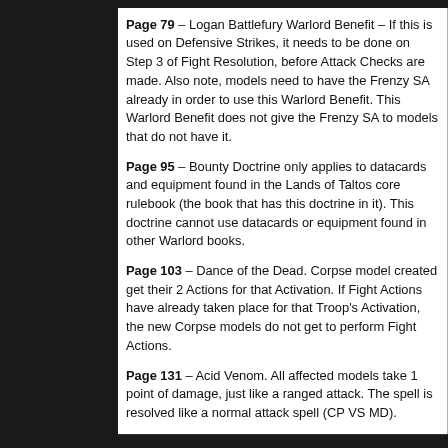Page 79 – Logan Battlefury Warlord Benefit – If this is used on Defensive Strikes, it needs to be done on Step 3 of Fight Resolution, before Attack Checks are made. Also note, models need to have the Frenzy SA already in order to use this Warlord Benefit. This Warlord Benefit does not give the Frenzy SA to models that do not have it.
Page 95 – Bounty Doctrine only applies to datacards and equipment found in the Lands of Taltos core rulebook (the book that has this doctrine in it). This doctrine cannot use datacards or equipment found in other Warlord books.
Page 103 – Dance of the Dead. Corpse model created get their 2 Actions for that Activation. If Fight Actions have already taken place for that Troop's Activation, the new Corpse models do not get to perform Fight Actions.
Page 131 – Acid Venom. All affected models take 1 point of damage, just like a ranged attack. The spell is resolved like a normal attack spell (CP VS MD).